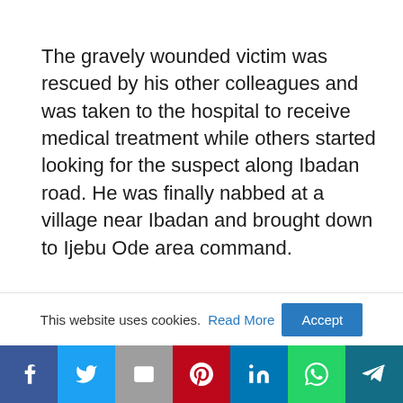The gravely wounded victim was rescued by his other colleagues and was taken to the hospital to receive medical treatment while others started looking for the suspect along Ibadan road. He was finally nabbed at a village near Ibadan and brought down to Ijebu Ode area command.
The Police PRO revealed that the State
This website uses cookies. Read More Accept
[Figure (other): Social media share bar with icons: Facebook, Twitter, Mail, Pinterest, LinkedIn, WhatsApp, Telegram]